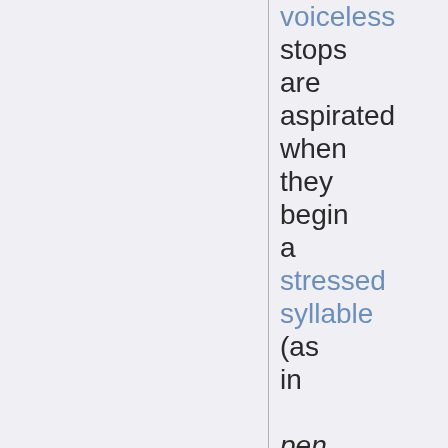voiceless stops are aspirated when they begin a stressed syllable (as in pen, ten, Ken), but